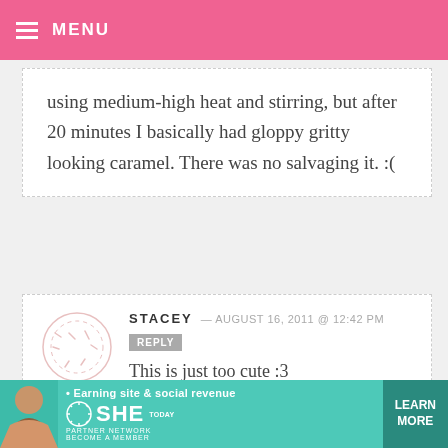MENU
using medium-high heat and stirring, but after 20 minutes I basically had gloppy gritty looking caramel. There was no salvaging it. :(
STACEY — AUGUST 16, 2011 @ 12:42 PM REPLY
This is just too cute :3
HILARY — AUGUST 16, 2011 @ 11:45 AM REPLY
[Figure (infographic): SHE Partner Network advertisement banner — Earning site & social revenue, LEARN MORE button]